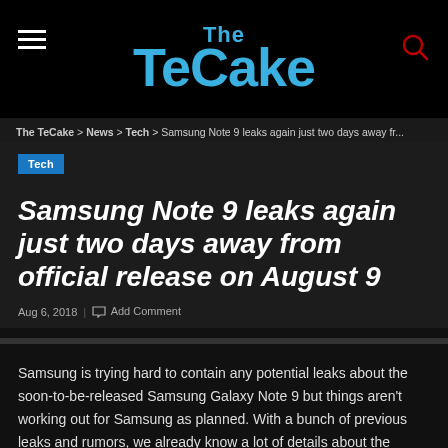The TeCake
The TeCake > News > Tech > Samsung Note 9 leaks again just two days away fr...
Tech
Samsung Note 9 leaks again just two days away from official release on August 9
Aug 6, 2018 | Add Comment
Samsung is trying hard to contain any potential leaks about the soon-to-be-released Samsung Galaxy Note 9 but things aren't working out for Samsung as planned. With a bunch of previous leaks and rumors, we already know a lot of details about the upcoming Note 9 but recent leaks from Samsung